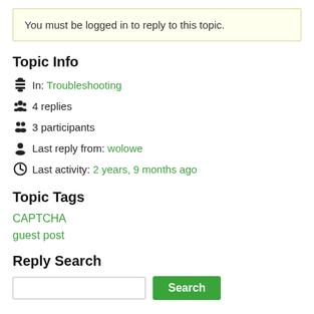You must be logged in to reply to this topic.
Topic Info
In: Troubleshooting
4 replies
3 participants
Last reply from: wolowe
Last activity: 2 years, 9 months ago
Topic Tags
CAPTCHA
guest post
Reply Search